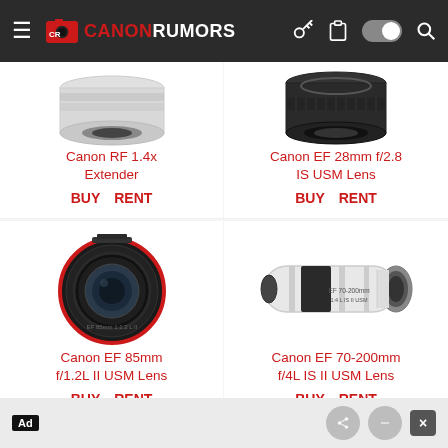Canon Rumors - Navigation bar with logo, hamburger menu, and icons
[Figure (photo): Canon RF 1.4x Extender lens product image (top portion visible)]
Canon RF 1.4x Extender
BUY   RENT
[Figure (photo): Canon EF 28mm f/2.8 IS USM Lens product image (top portion visible)]
Canon EF 28mm f/2.8 IS USM Lens
BUY   RENT
[Figure (photo): Canon EF 85mm f/1.2L II USM Lens product image - round black lens]
Canon EF 85mm f/1.2L II USM Lens
BUY   RENT
[Figure (photo): Canon EF 70-200mm f/4L IS II USM Lens product image - white telephoto lens]
Canon EF 70-200mm f/4L IS II USM Lens
BUY   RENT
Ad  x